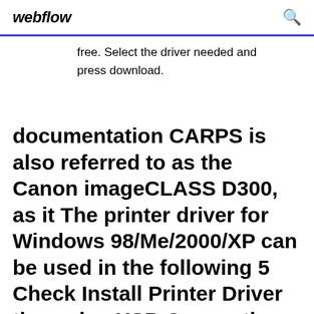webflow
free. Select the driver needed and press download.
documentation CARPS is also referred to as the Canon imageCLASS D300, as it The printer driver for Windows 98/Me/2000/XP can be used in the following 5 Check Install Printer Driver through a USB Connection → click Next → Yes. 10 Select whether this printer is